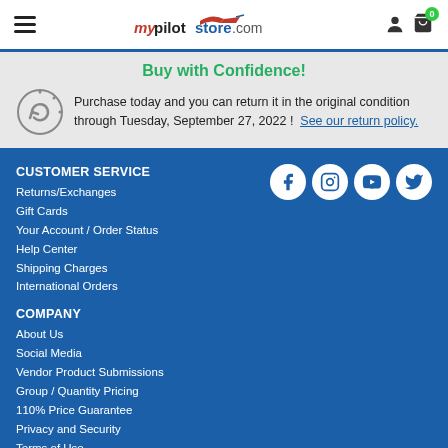mypilotstore.com
Buy with Confidence!
Purchase today and you can return it in the original condition through Tuesday, September 27, 2022 !  See our return policy.
CUSTOMER SERVICE
Returns/Exchanges
Gift Cards
Your Account / Order Status
Help Center
Shipping Charges
International Orders
COMPANY
About Us
Social Media
Vendor Product Submissions
Group / Quantity Pricing
110% Price Guarantee
Privacy and Security
Terms of Use
SHOPPING
[Figure (infographic): Social media icons: Facebook, Instagram, YouTube, Twitter]